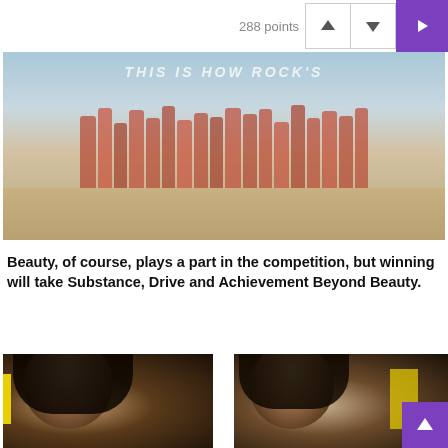288 points
[Figure (photo): Group photo of beauty pageant contestants in red swimsuits and sashes on a beach, with text 'Achievement Beyond Beauty' overlaid]
Beauty, of course, plays a part in the competition, but winning will take Substance, Drive and Achievement Beyond Beauty.
[Figure (photo): Close-up of a dark-haired woman looking down, wearing a yellow headband]
[Figure (photo): Close-up of another contestant looking down, writing or studying]